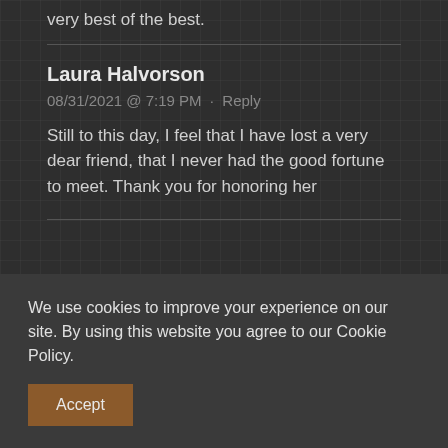very best of the best.
Laura Halvorson
08/31/2021 @ 7:19 PM · Reply
Still to this day, I feel that I have lost a very dear friend, that I never had the good fortune to meet. Thank you for honoring her
We use cookies to improve your experience on our site. By using this website you agree to our Cookie Policy.
Accept